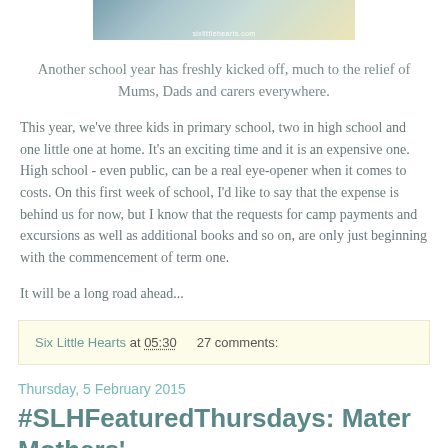[Figure (photo): Cropped photo of school supplies or children, with a watermark reading 'sixlittlehearts.com']
Another school year has freshly kicked off, much to the relief of Mums, Dads and carers everywhere.
This year, we've three kids in primary school, two in high school and one little one at home. It's an exciting time and it is an expensive one. High school - even public, can be a real eye-opener when it comes to costs. On this first week of school, I'd like to say that the expense is behind us for now, but I know that the requests for camp payments and excursions as well as additional books and so on, are only just beginning with the commencement of term one.
It will be a long road ahead...
Six Little Hearts at 05:30     27 comments:
Thursday, 5 February 2015
#SLHFeaturedThursdays: Mater Mothers'